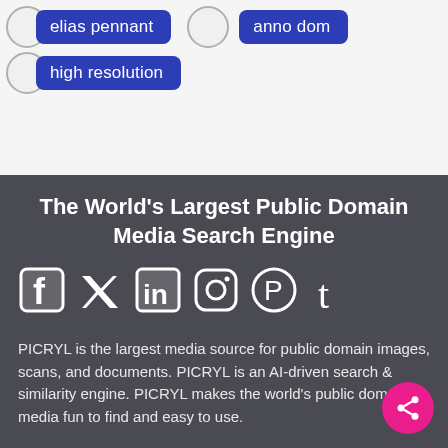elias pennant
anno dom
high resolution
The World's Largest Public Domain Media Search Engine
[Figure (infographic): Social media icons: Facebook, Twitter, LinkedIn, Instagram, Pinterest, Tumblr]
PICRYL is the largest media source for public domain images, scans, and documents. PICRYL is an AI-driven search & similarity engine. PICRYL makes the world's public domain media fun to find and easy to use.